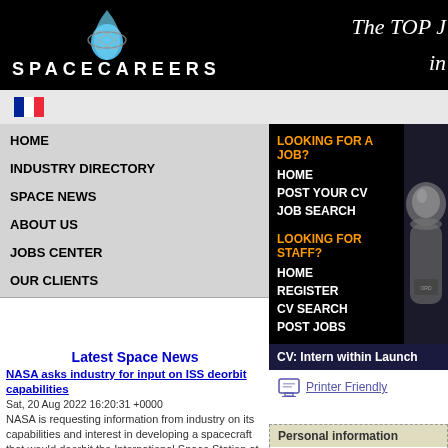[Figure (logo): SpaceCareers logo with globe/satellite icon on black header bar]
The TOP J... in
[Figure (illustration): French flag / navigation flag icon]
HOME
INDUSTRY DIRECTORY
SPACE NEWS
ABOUT US
JOBS CENTER
OUR CLIENTS
LOOKING FOR A JOB?
HOME
POST YOUR CV
JOB SEARCH
LOOKING FOR STAFF?
HOME
REGISTER
CV SEARCH
POST JOBS
[Figure (photo): Astronaut in spacesuit close-up photograph]
Latest Space News
NASA asks industry for input on ISS deorbit capabilities
Sat, 20 Aug 2022 16:20:31 +0000
NASA is requesting information from industry on its capabilities and interest in developing a spacecraft that would deorbit the International Space Station at the end of its life. The post NASA asks industry for input on ISS deorbit capabilities appeared first on SpaceNews.
Intelsat working to regain control of Galaxy 15 satellite
Fri, 19 Aug 2022 22:35:37 +0000
Intelsat said Aug. 19 it has lost control of its Galaxy 15 broadcast satellite after it
CV: Intern within Launch
Printer Friendly
Personal information
Name: <withhel